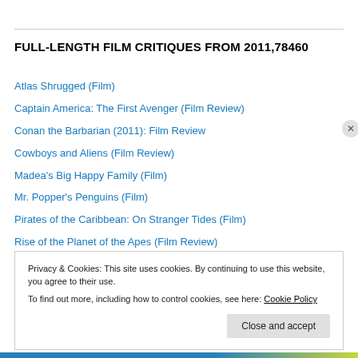FULL-LENGTH FILM CRITIQUES FROM 2011,78460
Atlas Shrugged (Film)
Captain America: The First Avenger (Film Review)
Conan the Barbarian (2011): Film Review
Cowboys and Aliens (Film Review)
Madea's Big Happy Family (Film)
Mr. Popper's Penguins (Film)
Pirates of the Caribbean: On Stranger Tides (Film)
Rise of the Planet of the Apes (Film Review)
Soul Surfer (Film)
Privacy & Cookies: This site uses cookies. By continuing to use this website, you agree to their use.
To find out more, including how to control cookies, see here: Cookie Policy